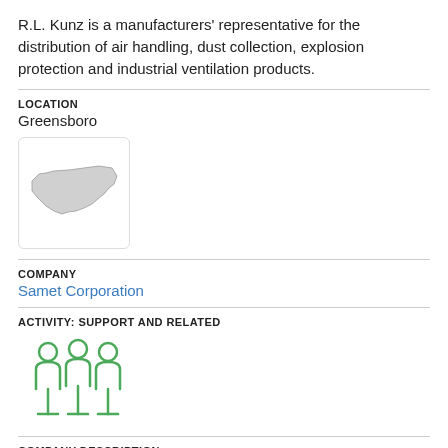R.L. Kunz is a manufacturers' representative for the distribution of air handling, dust collection, explosion protection and industrial ventilation products.
LOCATION
Greensboro
[Figure (map): Small map thumbnail showing the outline of North Carolina state in light gray.]
COMPANY
Samet Corporation
ACTIVITY: SUPPORT AND RELATED
[Figure (illustration): Green outline icon of three people standing together, representing a team or group.]
COMPANY DESCRIPTION